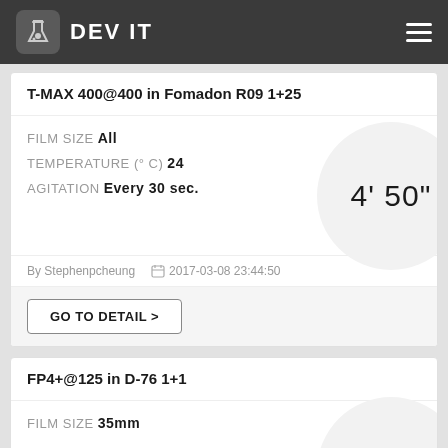DEV IT
T-MAX 400@400 in Fomadon R09 1+25
FILM SIZE All
TEMPERATURE (° C) 24
AGITATION Every 30 sec.
[Figure (infographic): Circle badge showing development time: 4' 50"]
By Stephenpcheung   2017-03-08 23:44:50
GO TO DETAIL >
FP4+@125 in D-76 1+1
FILM SIZE 35mm
[Figure (infographic): Circle badge showing development time: 11']